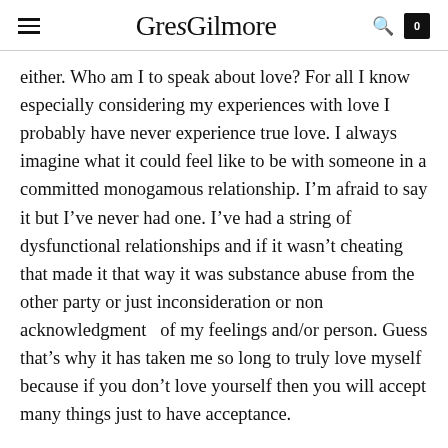GregGilmore
either. Who am I to speak about love? For all I know especially considering my experiences with love I probably have never experience true love. I always imagine what it could feel like to be with someone in a committed monogamous relationship. I’m afraid to say it but I’ve never had one. I’ve had a string of dysfunctional relationships and if it wasn’t cheating that made it that way it was substance abuse from the other party or just inconsideration or non acknowledgment   of my feelings and/or person. Guess that’s why it has taken me so long to truly love myself because if you don’t love yourself then you will accept many things just to have acceptance.